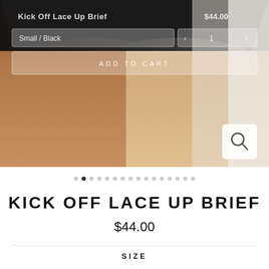[Figure (photo): Close-up product photo of a person wearing a black Kick Off Lace Up Brief, with a semi-transparent e-commerce UI overlay showing product name, price $44.00, variant selector (Small / Black), quantity selector, Add to Cart button, and a magnifier icon.]
•  •  •  •  •  •  •  •  •  •  •  •  •  •  •  •
KICK OFF LACE UP BRIEF
$44.00
SIZE